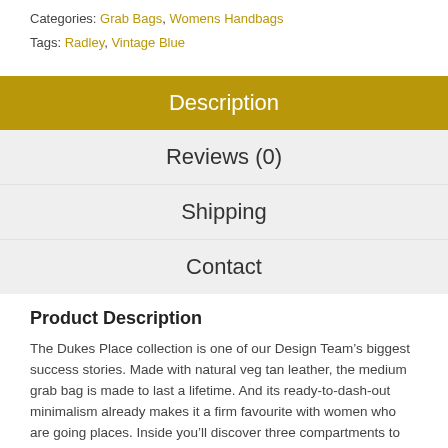Categories: Grab Bags, Womens Handbags
Tags: Radley, Vintage Blue
Description
Reviews (0)
Shipping
Contact
Product Description
The Dukes Place collection is one of our Design Team’s biggest success stories. Made with natural veg tan leather, the medium grab bag is made to last a lifetime. And its ready-to-dash-out minimalism already makes it a firm favourite with women who are going places. Inside you’ll discover three compartments to organise all of your essentials. So you always know exactly where your keys are. What a lifesaver.